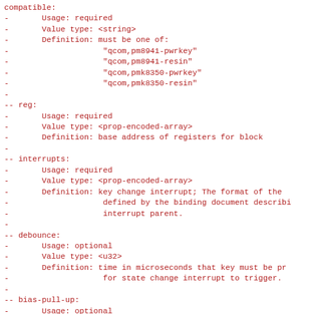compatible:
-       Usage: required
-       Value type: <string>
-       Definition: must be one of:
-                   "qcom,pm8941-pwrkey"
-                   "qcom,pm8941-resin"
-                   "qcom,pmk8350-pwrkey"
-                   "qcom,pmk8350-resin"
-
-- reg:
-       Usage: required
-       Value type: <prop-encoded-array>
-       Definition: base address of registers for block
-
-- interrupts:
-       Usage: required
-       Value type: <prop-encoded-array>
-       Definition: key change interrupt; The format of the
-                   defined by the binding document describi
-                   interrupt parent.
-
-- debounce:
-       Usage: optional
-       Value type: <u32>
-       Definition: time in microseconds that key must be pr
-                   for state change interrupt to trigger.
-
-- bias-pull-up:
-       Usage: optional
-       Value type: <empty>
-       Definition: presence of this property indicates that
-                   should be configured for pull up.
-